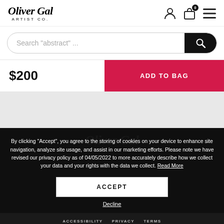[Figure (logo): Oliver Gal Artist Co. logo in cursive/italic script]
Search "abstract" ...
$200
ADD TO BAG
[Figure (logo): Oliver Gal Artist Co. footer logo in white cursive on dark background]
By clicking “Accept”, you agree to the storing of cookies on your device to enhance site navigation, analyze site usage, and assist in our marketing efforts. Please note we have revised our privacy policy as of 04/05/2022 to more accurately describe how we collect your data and your rights with the data we collect. Read More
ACCEPT
Decline
ACCESSIBILITY   PRIVACY   TERMS